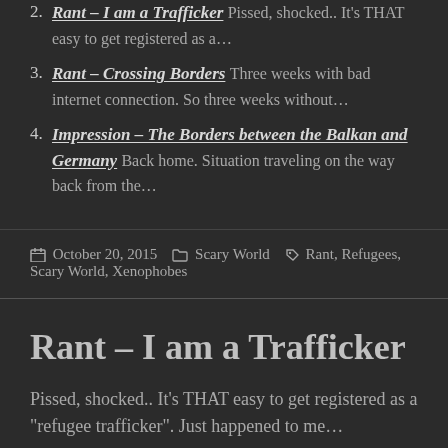2. Rant – I am a Trafficker Pissed, shocked.. It's THAT easy to get registered as a…
3. Rant – Crossing Borders Three weeks with bad internet connection. So three weeks without…
4. Impression – The Borders between the Balkan and Germany Back home. Situation traveling on the way back from the…
October 20, 2015   Categories: Scary World   Tags: Rant, Refugees, Scary World, Xenophobes
Rant – I am a Trafficker
Pissed, shocked.. It's THAT easy to get registered as a "refugee trafficker". Just happened to me…